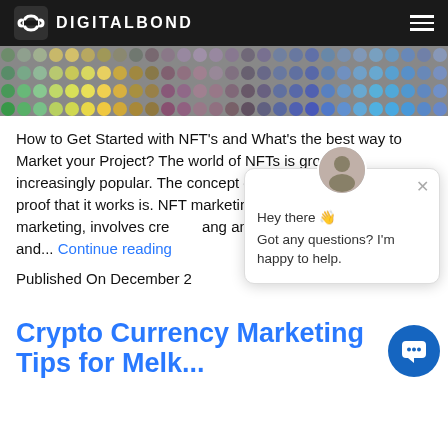DIGITALBOND
[Figure (photo): Colorful mosaic/pixel art header image with circular colored tokens in rows]
How to Get Started with NFT's and What's the best way to Market your Project? The world of NFTs is growing increasingly popular. The concept of NFTs is not new, but the proof that it works is. NFT marketing, like any other form of marketing, involves creating and promoting products. N... and... Continue reading
Published On December 2
[Figure (screenshot): Chat popup with avatar, close button, greeting 'Hey there' and message 'Got any questions? I'm happy to help.']
Crypto Currency Marketing